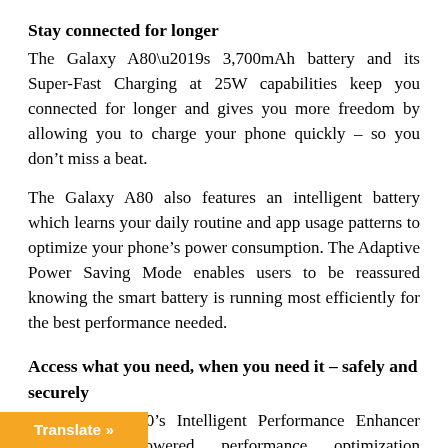Stay connected for longer
The Galaxy A80’s 3,700mAh battery and its Super-Fast Charging at 25W capabilities keep you connected for longer and gives you more freedom by allowing you to charge your phone quickly – so you don’t miss a beat.
The Galaxy A80 also features an intelligent battery which learns your daily routine and app usage patterns to optimize your phone’s power consumption. The Adaptive Power Saving Mode enables users to be reassured knowing the smart battery is running most efficiently for the best performance needed.
Access what you need, when you need it – safely and securely
The Galaxy A80’s Intelligent Performance Enhancer provides AI-powered performance optimization ...djusts the battery, CPU and RAM of your